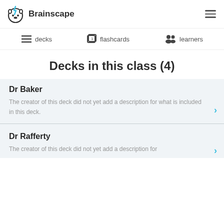Brainscape
[Figure (logo): Brainscape logo: round animal face icon with lightning bolt, next to bold text Brainscape]
decks   flashcards   learners
Decks in this class (4)
Dr Baker
The creator of this deck did not yet add a description for what is included in this deck.
Dr Rafferty
The creator of this deck did not yet add a description for